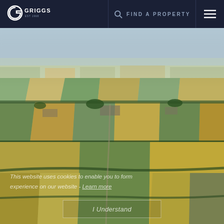[Figure (logo): Griggs estate agency logo - white G icon with GRIGGS text and EST 1968 tagline on dark navy background]
FIND A PROPERTY
[Figure (photo): Aerial photograph of English countryside showing patchwork of agricultural fields in green and golden yellow tones, with villages and hedgerows visible]
This website uses cookies to enable you to form experience on our website - Learn more
I Understand